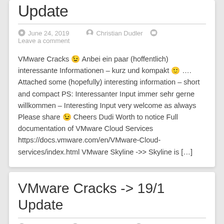Update
June 24, 2019  Christian Dudler  Leave a comment
VMware Cracks 😉 Anbei ein paar (hoffentlich) interessante Informationen – kurz und kompakt 🙂 …. Attached some (hopefully) interesting information – short and compact PS: Interessanter Input immer sehr gerne willkommen – Interesting Input very welcome as always Please share 😉 Cheers Dudi Worth to notice Full documentation of VMware Cloud Services https://docs.vmware.com/en/VMware-Cloud-services/index.html VMware Skyline ->> Skyline is […]
VMware Cracks -> 19/1 Update
April 2, 2019  Christian Dudler  Leave a comment